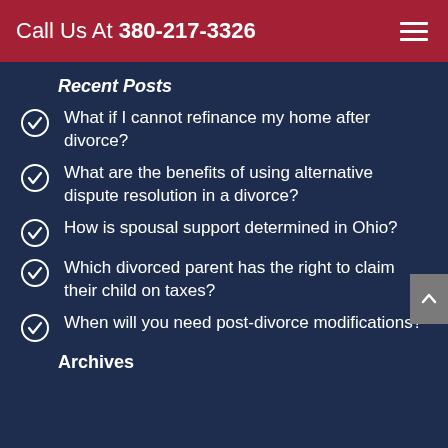Call Us At 380-217-3326
Recent Posts
What if I cannot refinance my home after divorce?
What are the benefits of using alternative dispute resolution in a divorce?
How is spousal support determined in Ohio?
Which divorced parent has the right to claim their child on taxes?
When will you need post-divorce modifications?
Archives